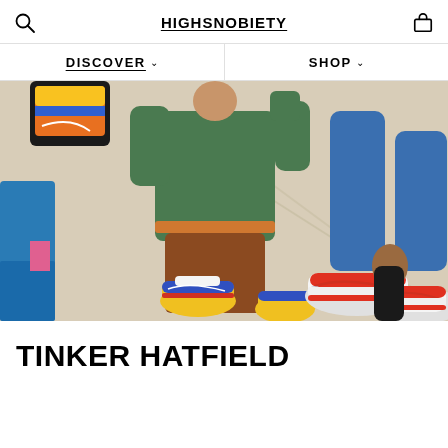HIGHSNOBIETY
[Figure (illustration): Navigation bar with DISCOVER and SHOP menu items with dropdown arrows]
[Figure (illustration): Illustrated artwork showing animated/cartoon characters wearing Nike sneakers including Air Max 97 in yellow/blue/red and Air Max 1 in red/white, characters wearing streetwear outfits]
TINKER HATFIELD